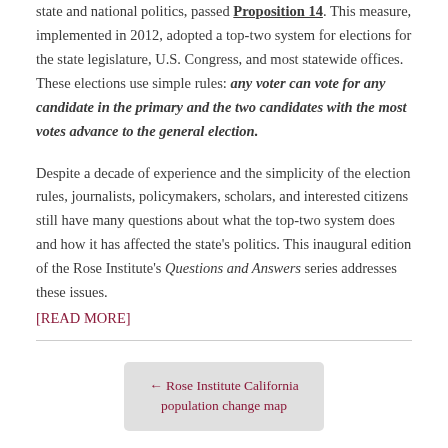state and national politics, passed Proposition 14. This measure, implemented in 2012, adopted a top-two system for elections for the state legislature, U.S. Congress, and most statewide offices. These elections use simple rules: any voter can vote for any candidate in the primary and the two candidates with the most votes advance to the general election.
Despite a decade of experience and the simplicity of the election rules, journalists, policymakers, scholars, and interested citizens still have many questions about what the top-two system does and how it has affected the state's politics. This inaugural edition of the Rose Institute's Questions and Answers series addresses these issues. [READ MORE]
← Rose Institute California population change map